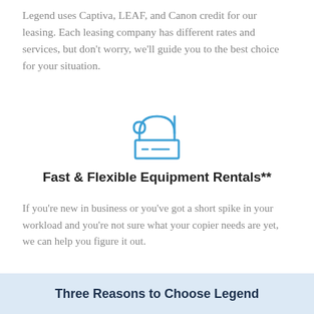Legend uses Captiva, LEAF, and Canon credit for our leasing. Each leasing company has different rates and services, but don't worry, we'll guide you to the best choice for your situation.
[Figure (illustration): Blue outline icon of a scroll/document or printer-like device with a rectangular base]
Fast & Flexible Equipment Rentals**
If you're new in business or you've got a short spike in your workload and you're not sure what your copier needs are yet, we can help you figure it out.
**Delivery fees and security deposits apply.
Three Reasons to Choose Legend